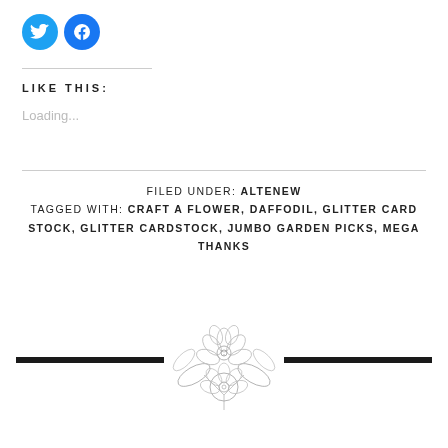[Figure (logo): Twitter and Facebook social media circular icon buttons (blue circles with white bird and f logos)]
LIKE THIS:
Loading...
FILED UNDER: ALTENEW
TAGGED WITH: CRAFT A FLOWER, DAFFODIL, GLITTER CARD STOCK, GLITTER CARDSTOCK, JUMBO GARDEN PICKS, MEGA THANKS
[Figure (illustration): Decorative floral divider with a pencil-sketch style flower bouquet in the center, flanked by two thick horizontal black bars]